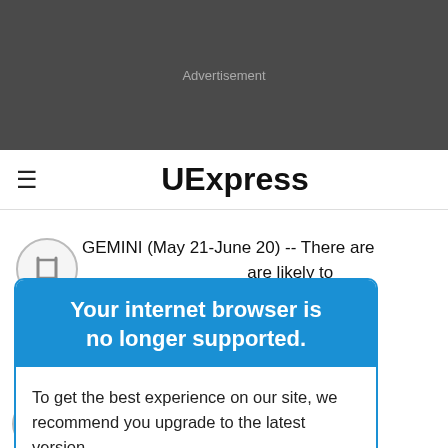[Figure (other): Dark gray advertisement banner placeholder with text 'Advertisement']
≡  UExpress
GEMINI (May 21-June 20) -- There are ... are likely to ... ll end up ... rful influence ... day, then soon.
Your internet browser is no longer supported.
To get the best experience on our site, we recommend you upgrade to the latest version.